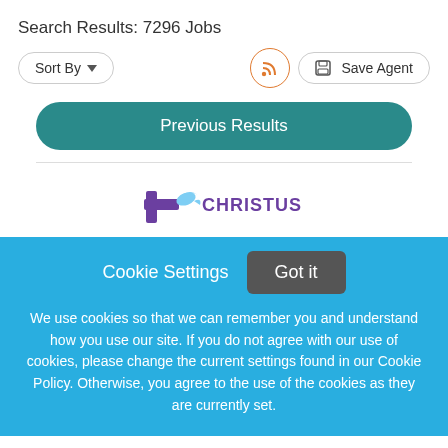Search Results: 7296 Jobs
Sort By | RSS | Save Agent | Previous Results
[Figure (logo): CHRISTUS Health logo with purple cross and dove symbol]
Cookie Settings   Got it

We use cookies so that we can remember you and understand how you use our site. If you do not agree with our use of cookies, please change the current settings found in our Cookie Policy. Otherwise, you agree to the use of the cookies as they are currently set.